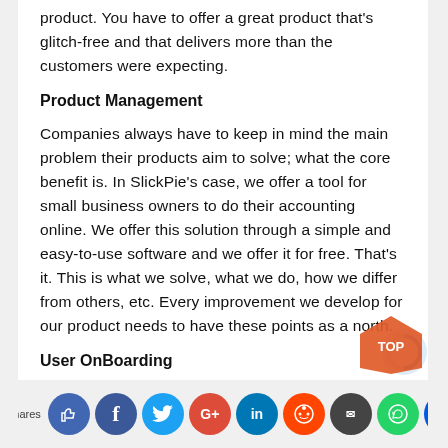product. You have to offer a great product that's glitch-free and that delivers more than the customers were expecting.
Product Management
Companies always have to keep in mind the main problem their products aim to solve; what the core benefit is. In SlickPie's case, we offer a tool for small business owners to do their accounting online. We offer this solution through a simple and easy-to-use software and we offer it for free. That's it. This is what we solve, what we do, how we differ from others, etc. Every improvement we develop for our product needs to have these points as a north.
User OnBoarding
The goal with user onboarding is to improve